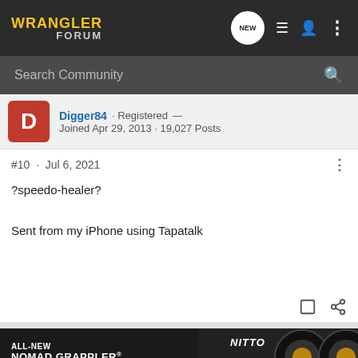WRANGLER FORUM
Search Community
Digger84 · Registered
Joined Apr 29, 2013 · 19,027 Posts
#10 · Jul 6, 2021
?speedo-healer?
Sent from my iPhone using Tapatalk
1 - 10 of
[Figure (screenshot): Nitto Nomad Grappler crossover-terrain tire advertisement banner at the bottom of the page]